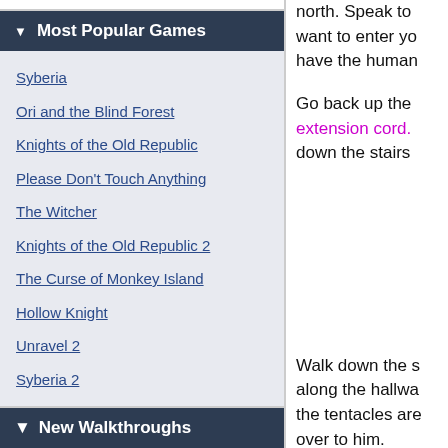Most Popular Games
Syberia
Ori and the Blind Forest
Knights of the Old Republic
Please Don't Touch Anything
The Witcher
Knights of the Old Republic 2
The Curse of Monkey Island
Hollow Knight
Unravel 2
Syberia 2
New Walkthroughs
north. Speak to want to enter yo have the human
Go back up the extension cord. down the stairs
Walk down the s along the hallwa the tentacles are over to him.